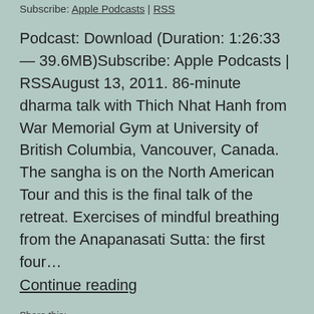Subscribe: Apple Podcasts | RSS
Podcast: Download (Duration: 1:26:33 — 39.6MB)Subscribe: Apple Podcasts | RSSAugust 13, 2011. 86-minute dharma talk with Thich Nhat Hanh from War Memorial Gym at University of British Columbia, Vancouver, Canada. The sangha is on the North American Tour and this is the final talk of the retreat. Exercises of mindful breathing from the Anapanasati Sutta: the first four…
Continue reading
Share this: